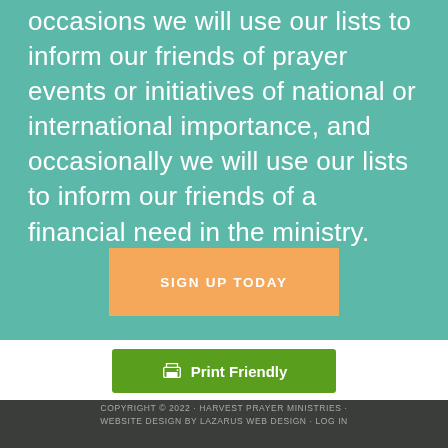occasions we will use our lists to inform our friends of prayer events or initiatives of national or international importance, and occasionally we will use our lists to inform our friends of a financial need in the ministry.
SIGN UP TODAY
[Figure (other): Print Friendly button with printer icon]
COPYRIGHT © 2022 · HARVEST PRAYER MINISTRIES · WEBSITE DESIGN BY LAZARUS WEB DESIGN · LOG IN